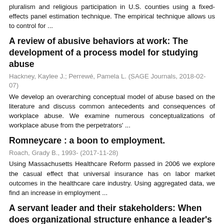pluralism and religious participation in U.S. counties using a fixed-effects panel estimation technique. The empirical technique allows us to control for ...
A review of abusive behaviors at work: The development of a process model for studying abuse
Hackney, Kaylee J.; Perrewé, Pamela L. (SAGE Journals, 2018-02-07)
We develop an overarching conceptual model of abuse based on the literature and discuss common antecedents and consequences of workplace abuse. We examine numerous conceptualizations of workplace abuse from the perpetrators' ...
Romneycare : a boon to employment.
Roach, Grady B., 1993- (2017-11-28)
Using Massachusetts Healthcare Reform passed in 2006 we explore the casual effect that universal insurance has on labor market outcomes in the healthcare care industry. Using aggregated data, we find an increase in employment ...
A servant leader and their stakeholders: When does organizational structure enhance a leader's influence?
Neubert, Mitchell J.; Hunter, Emily M.; Tolentino, Remy C. (Elsevier,